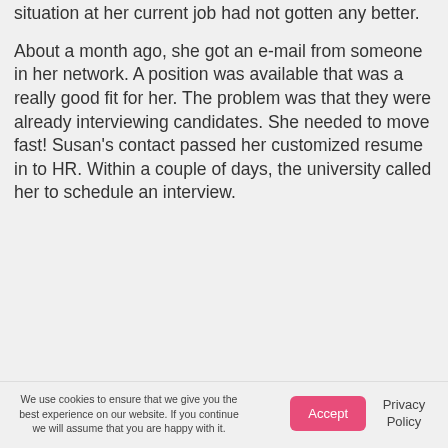situation at her current job had not gotten any better.
About a month ago, she got an e-mail from someone in her network. A position was available that was a really good fit for her. The problem was that they were already interviewing candidates. She needed to move fast! Susan's contact passed her customized resume in to HR. Within a couple of days, the university called her to schedule an interview.
We use cookies to ensure that we give you the best experience on our website. If you continue we will assume that you are happy with it. Accept Privacy Policy